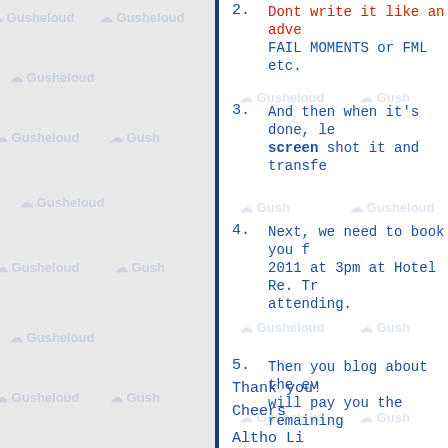2. Dont write it like an adve... FAIL MOMENTS or FML etc.
3. And then when it's done, le... screen shot it and transfe...
4. Next, we need to book you f... 2011 at 3pm at Hotel Re. Tr... attending.
5. Then you blog about the ev... will pay you the remaining...
Thank you!
Cheers
Altho Li...